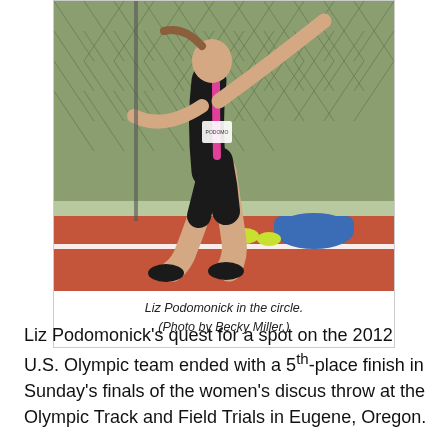[Figure (photo): Liz Podomonick throwing discus in the circle, wearing a black and pink athletic outfit, with a net cage behind her and sports equipment on the ground in the background.]
Liz Podomonick in the circle. (Photo by Becky Miller.)
Liz Podomonick's quest for a spot on the 2012 U.S. Olympic team ended with a 5th-place finish in Sunday's finals of the women's discus throw at the Olympic Track and Field Trials in Eugene, Oregon.
The Jacksonville High School and University of Minnesota...